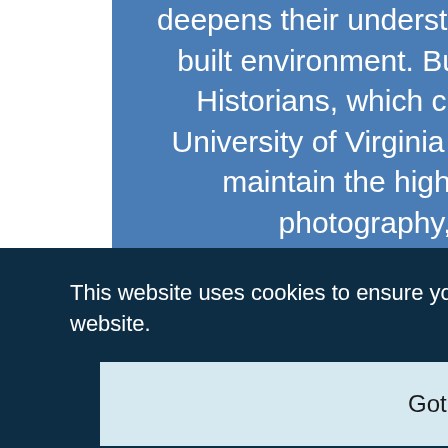deepens their understanding and appreciation of the built environment. But the Society of Architectural Historians, which created SAH Archipedia with University of Virginia Press, needs your support to maintain the high-caliber research, writing, photography, cartography, editing,
This website uses cookies to ensure you get the best experience on our website.
Got it!